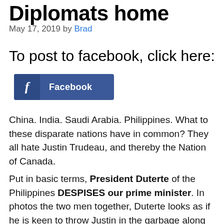Diplomats home
May 17, 2019 by Brad
To post to facebook, click here:
[Figure (other): Facebook share button with 'f' icon and 'Facebook' label]
China. India. Saudi Arabia. Philippines. What to these disparate nations have in common? They all hate Justin Trudeau, and thereby the Nation of Canada.
Put in basic terms, President Duterte of the Philippines DESPISES our prime minister. In photos the two men together, Duterte looks as if he is keen to throw Justin in the garbage along with his 103 containers